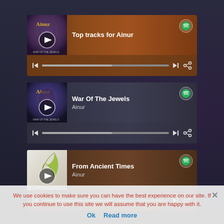[Figure (screenshot): Spotify embedded player widget for 'Top tracks for Ainur' with album art, play button, progress bar, skip and share controls on a brown/orange background]
[Figure (screenshot): Spotify embedded player widget for 'War Of The Jewels' by Ainur with album art, play button, progress bar, skip and share controls on a dark blue-grey background]
[Figure (screenshot): Spotify embedded player widget for 'From Ancient Times' by Ainur with album art, play button, progress bar, skip and share controls on a dark brown background]
We use cookies to make sure you can have the best experience on our site. If you continue to use this site we will assume that you are happy with it.
Ok   Read more